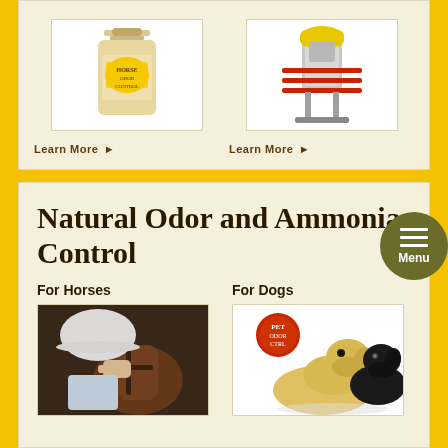[Figure (photo): Product image - liquid bottle with yellow label]
[Figure (photo): Product image - industrial equipment on stand with red rack]
Learn More ▶
Learn More ▶
Natural Odor and Ammonia Control
For Horses
For Dogs
[Figure (photo): Person in white hat holding horse bridle]
[Figure (photo): Two dogs sitting - yellow Labrador and black dog with product logo badge]